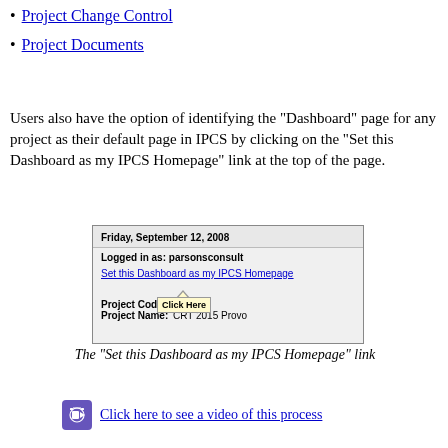Project Change Control
Project Documents
Users also have the option of identifying the "Dashboard" page for any project as their default page in IPCS by clicking on the "Set this Dashboard as my IPCS Homepage" link at the top of the page.
[Figure (screenshot): Screenshot of IPCS Dashboard header showing date 'Friday, September 12, 2008', 'Logged in as: parsonsconsult', 'Set this Dashboard as my IPCS Homepage' link, Project Code ending in I008, Project Name CRT 2015 Provo, and a 'Click Here' tooltip arrow.]
The "Set this Dashboard as my IPCS Homepage" link
[Figure (illustration): Video camera icon (purple/blue square with film camera symbol) followed by text link 'Click here to see a video of this process']